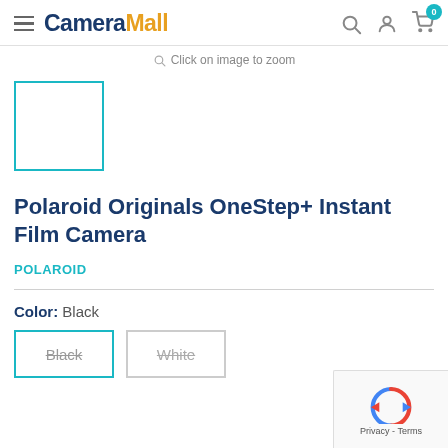CameraMall
Click on image to zoom
[Figure (other): Thumbnail image placeholder with teal border]
Polaroid Originals OneStep+ Instant Film Camera
POLAROID
Color: Black
Black  White